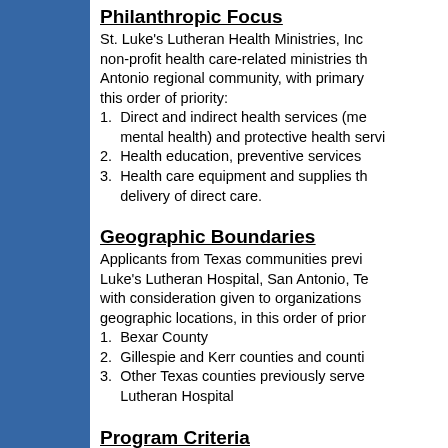Philanthropic Focus
St. Luke's Lutheran Health Ministries, Inc. non-profit health care-related ministries that Antonio regional community, with primary this order of priority:
1.  Direct and indirect health services (me mental health) and protective health servi
2.  Health education, preventive services
3.  Health care equipment and supplies th delivery of direct care.
Geographic Boundaries
Applicants from Texas communities previ Luke's Lutheran Hospital, San Antonio, Te with consideration given to organizations geographic locations, in this order of prior
1.  Bexar County
2.  Gillespie and Kerr counties and counti
3.  Other Texas counties previously serve Lutheran Hospital
Program Criteria
Proposals that consider the following crite potential for receiving grants:
1.  Address root causes of a concern...